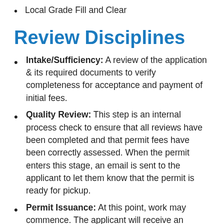Local Grade Fill and Clear
Review Disciplines
Intake/Sufficiency: A review of the application & its required documents to verify completeness for acceptance and payment of initial fees.
Quality Review: This step is an internal process check to ensure that all reviews have been completed and that permit fees have been correctly assessed. When the permit enters this stage, an email is sent to the applicant to let them know that the permit is ready for pickup.
Permit Issuance: At this point, work may commence. The applicant will receive an approved copy of the permit package and a Permit-Inspections Job Card to be posted at the site printed with a list of the required inspections